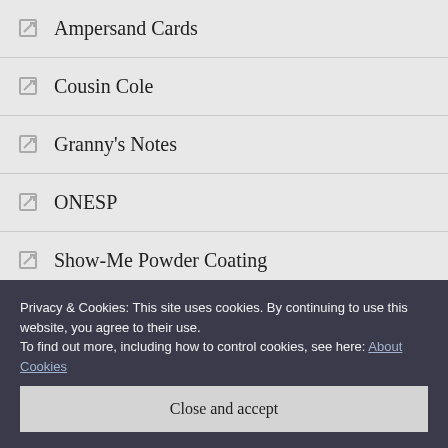Ampersand Cards
Cousin Cole
Granny's Notes
ONESP
Show-Me Powder Coating
The D-Word
Privacy & Cookies: This site uses cookies. By continuing to use this website, you agree to their use.
To find out more, including how to control cookies, see here: About Cookies
Close and accept